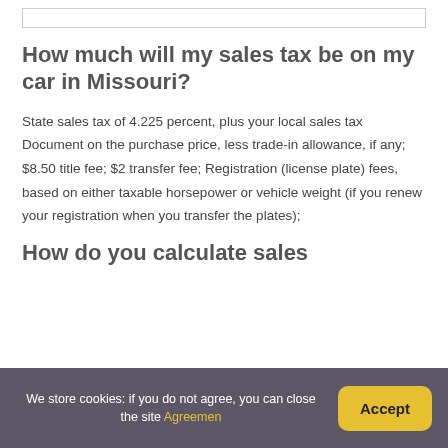How much will my sales tax be on my car in Missouri?
State sales tax of 4.225 percent, plus your local sales tax Document on the purchase price, less trade-in allowance, if any; $8.50 title fee; $2 transfer fee; Registration (license plate) fees, based on either taxable horsepower or vehicle weight (if you renew your registration when you transfer the plates);
How do you calculate sales
We store cookies: if you do not agree, you can close the site Agreemen